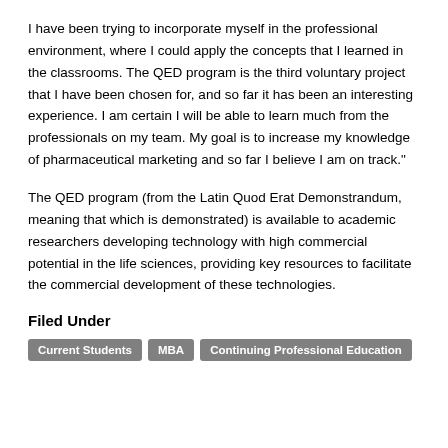I have been trying to incorporate myself in the professional environment, where I could apply the concepts that I learned in the classrooms. The QED program is the third voluntary project that I have been chosen for, and so far it has been an interesting experience. I am certain I will be able to learn much from the professionals on my team. My goal is to increase my knowledge of pharmaceutical marketing and so far I believe I am on track."
The QED program (from the Latin Quod Erat Demonstrandum, meaning that which is demonstrated) is available to academic researchers developing technology with high commercial potential in the life sciences, providing key resources to facilitate the commercial development of these technologies.
Filed Under
Current Students
MBA
Continuing Professional Education